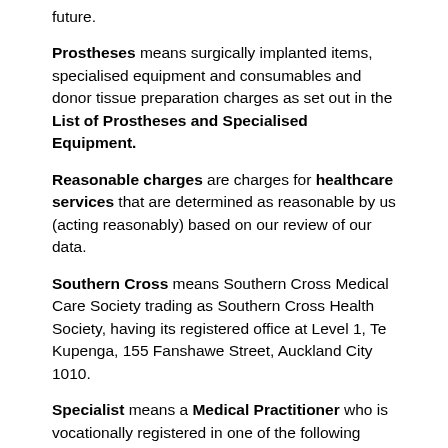future.
Prostheses means surgically implanted items, specialised equipment and consumables and donor tissue preparation charges as set out in the List of Prostheses and Specialised Equipment.
Reasonable charges are charges for healthcare services that are determined as reasonable by us (acting reasonably) based on our review of our data.
Southern Cross means Southern Cross Medical Care Society trading as Southern Cross Health Society, having its registered office at Level 1, Te Kupenga, 155 Fanshawe Street, Auckland City 1010.
Specialist means a Medical Practitioner who is vocationally registered in one of the following scopes:
anaesthesia, cardiothoracic surgery, clinical genetics, dermatology, diagnostic & interventional radiology, general surgery, intensive care medicine, internal medicine, musculoskeletal medicine, neurosurgery, obstetrics & gynaecology, occupational medicine, ophthalmology, oral & maxillofacial surgery, orthopaedic surgery, otolaryngology,